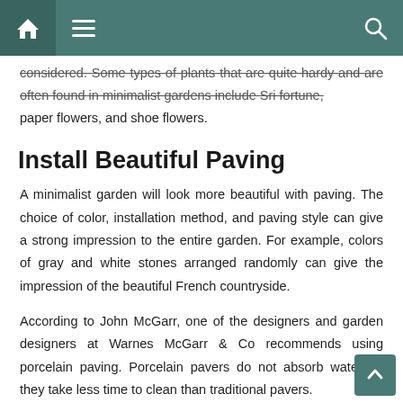Navigation bar with home, menu, and search icons
considered. Some types of plants that are quite hardy and are often found in minimalist gardens include Sri fortune, paper flowers, and shoe flowers.
Install Beautiful Paving
A minimalist garden will look more beautiful with paving. The choice of color, installation method, and paving style can give a strong impression to the entire garden. For example, colors of gray and white stones arranged randomly can give the impression of the beautiful French countryside.
According to John McGarr, one of the designers and garden designers at Warnes McGarr & Co recommends using porcelain paving. Porcelain pavers do not absorb water so they take less time to clean than traditional pavers.